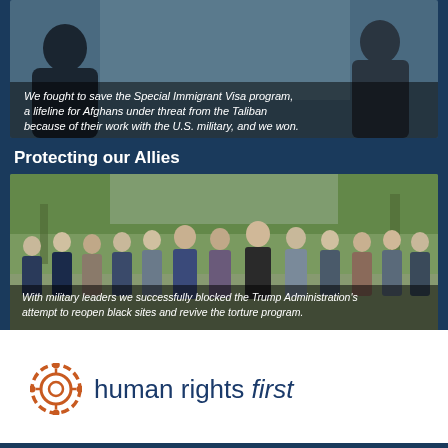[Figure (photo): Photo of military personnel with overlay text about Special Immigrant Visa program]
We fought to save the Special Immigrant Visa program, a lifeline for Afghans under threat from the Taliban because of their work with the U.S. military, and we won.
Protecting our Allies
[Figure (photo): Group photo of military leaders standing outdoors with overlay text about blocking torture program]
With military leaders we successfully blocked the Trump Administration's attempt to reopen black sites and revive the torture program.
Keeping the Door Closed on Torture
[Figure (logo): Human Rights First logo with orange circular icon and organization name]